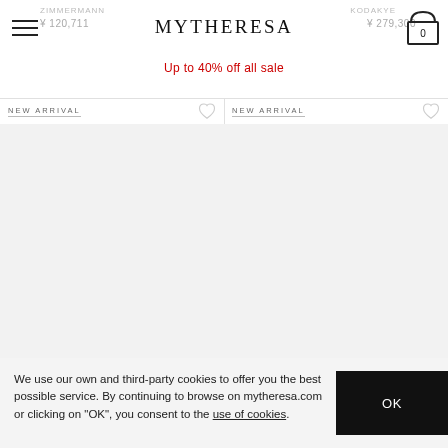MYTHERESA
Up to 40% off all sale
NEW ARRIVAL
NEW ARRIVAL
[Figure (photo): Left product image area - blank white/light gray product photo placeholder]
[Figure (photo): Right product image area - blank white/light gray product photo placeholder]
ZIMMERMANN
¥ 120,711
KODAKYE
¥ 279,300
ETRO
SELF-PORTRAIT
We use our own and third-party cookies to offer you the best possible service. By continuing to browse on mytheresa.com or clicking on "OK", you consent to the use of cookies.